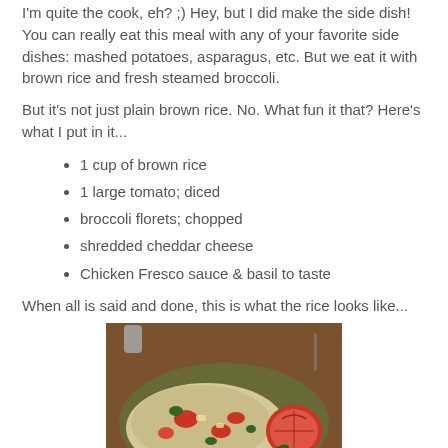I'm quite the cook, eh? ;) Hey, but I did make the side dish! You can really eat this meal with any of your favorite side dishes: mashed potatoes, asparagus, etc. But we eat it with brown rice and fresh steamed broccoli.
But it's not just plain brown rice. No. What fun it that? Here's what I put in it...
1 cup of brown rice
1 large tomato; diced
broccoli florets; chopped
shredded cheddar cheese
Chicken Fresco sauce & basil to taste
When all is said and done, this is what the rice looks like...
[Figure (photo): A plate of brown rice mixed with diced tomatoes, broccoli florets, and shredded cheese, with a halved tomato on the side, garnished with fresh basil leaves.]